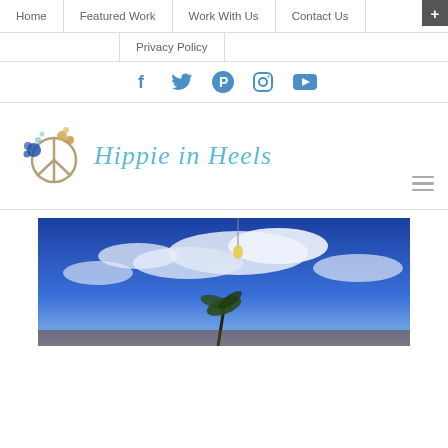Home | Featured Work | Work With Us | Contact Us | Privacy Policy
[Figure (other): Social media icons: Facebook, Twitter, Pinterest, Instagram, YouTube]
[Figure (logo): Hippie in Heels logo with peace sign decorated with flowers and script text]
[Figure (photo): Outdoor photo showing blue sky with clouds and palm trees, appears to be a tropical location]